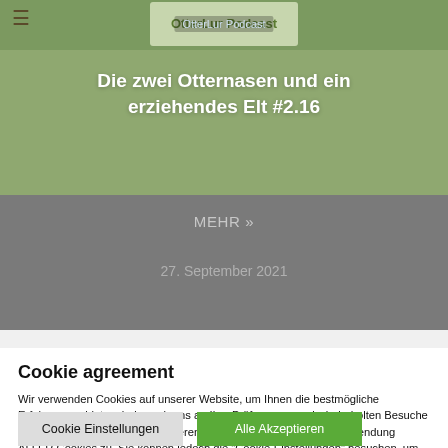[Figure (screenshot): Green-toned image area showing a podcast banner with menu icon and overlaid title text]
Die zwei Otternasen und ein erziehendes Elt #2.16
MEHR »
27. September 2021
Cookie agreement
Wir verwenden Cookies auf unserer Website, um Ihnen die bestmögliche Erfahrung zu bieten, indem wir uns an Ihre Präferenzen und wiederholten Besuche erinnern. Wenn Sie "Alle akzeptieren" wählen, stimmen Sie der Verwendung ALLER Cookies zu. Sie können jedoch die "Cookie-Einstellungen" besuchen, um eine kontrollierte Zustimmung zu erteilen.
Cookie Einstellungen
Alle Akzeptieren